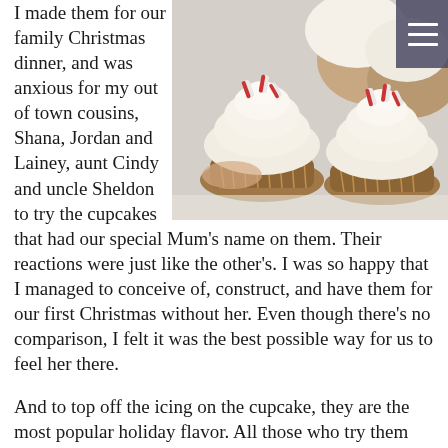I made them for our family Christmas dinner, and was anxious for my out of town cousins, Shana, Jordan and Lainey, aunt Cindy and uncle Sheldon to try the cupcakes that had our special Mum's name on them. Their reactions were just like the other's. I was so happy that I managed to conceive of, construct, and have them for our first Christmas without her. Even though there's no comparison, I felt it was the best possible way for us to feel her there.
[Figure (photo): Close-up photo of cupcakes with white frosting swirls topped with candy cane pieces, on a white surface]
And to top off the icing on the cupcake, they are the most popular holiday flavor. All those who try them are completely surprised by them, and certainly can't limit themselves to only having one. They evoke holiday cheer in every way, just as she did. Every time I make them, it's a quiet time of reflection and love for me. I make them